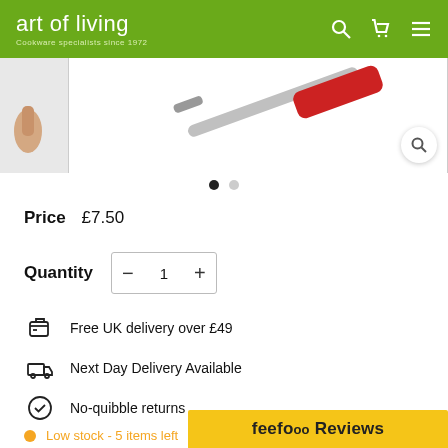art of living — Cookware specialists since 1972
[Figure (screenshot): Product image strip showing two thumbnails of a kitchen tool (red/grey handle), with a magnifying glass search icon overlay on the main image]
● ○
Price  £7.50
Quantity  − 1 +
Free UK delivery over £49
Next Day Delivery Available
No-quibble returns
Low stock - 5 items left
feefo Reviews